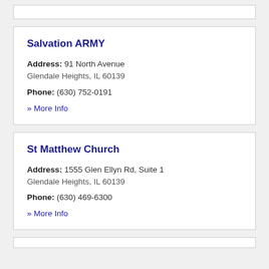Salvation ARMY
Address: 91 North Avenue Glendale Heights, IL 60139
Phone: (630) 752-0191
» More Info
St Matthew Church
Address: 1555 Glen Ellyn Rd, Suite 1 Glendale Heights, IL 60139
Phone: (630) 469-6300
» More Info